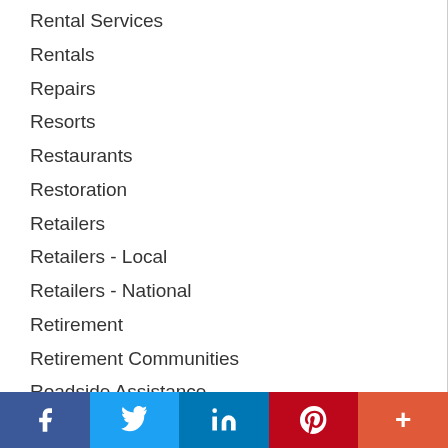Rental Services
Rentals
Repairs
Resorts
Restaurants
Restoration
Retailers
Retailers - Local
Retailers - National
Retirement
Retirement Communities
Roadside Assistance
Roadside Services
Roof Snow Removal
f  Twitter  in  Pinterest  +